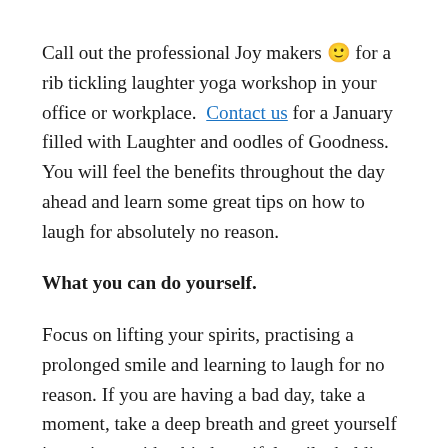Call out the professional Joy makers 🙂 for a rib tickling laughter yoga workshop in your office or workplace. Contact us for a January filled with Laughter and oodles of Goodness. You will feel the benefits throughout the day ahead and learn some great tips on how to laugh for absolutely no reason.
What you can do yourself.
Focus on lifting your spirits, practising a prolonged smile and learning to laugh for no reason. If you are having a bad day, take a moment, take a deep breath and greet yourself in a mirror with a big beautiful smile, holding